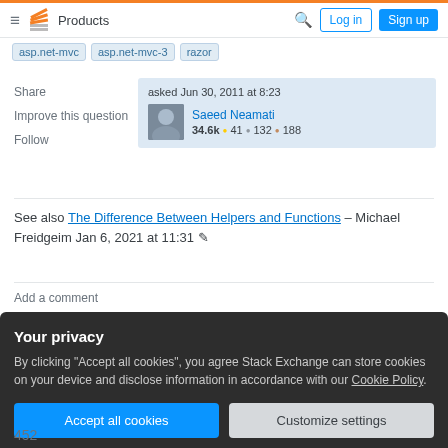≡  [SO logo]  Products  🔍  Log in  Sign up
asp.net-mvc  asp.net-mvc-3  razor
Share
Improve this question
Follow
asked Jun 30, 2011 at 8:23
Saeed Neamati
34.6k ● 41 ● 132 ● 188
See also The Difference Between Helpers and Functions – Michael Freidgeim Jan 6, 2021 at 11:31
Add a comment
Sorted by:
Your privacy
By clicking "Accept all cookies", you agree Stack Exchange can store cookies on your device and disclose information in accordance with our Cookie Policy.
Accept all cookies
Customize settings
452